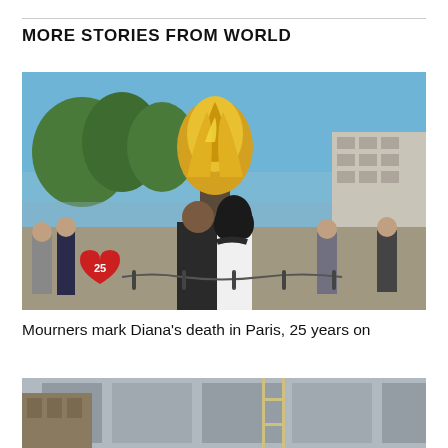MORE STORIES FROM WORLD
[Figure (photo): People gathered around the Flame of Liberty monument in Paris, with a heart-shaped '25' memorial tribute visible on the ground, marking the 25th anniversary of Princess Diana's death.]
Mourners mark Diana's death in Paris, 25 years on
[Figure (photo): A building exterior with scaffolding, partially visible at the bottom of the page.]